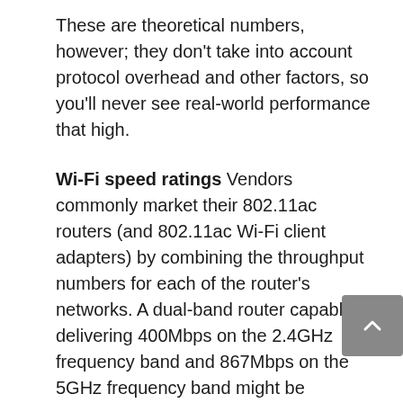These are theoretical numbers, however; they don't take into account protocol overhead and other factors, so you'll never see real-world performance that high.
Wi-Fi speed ratings Vendors commonly market their 802.11ac routers (and 802.11ac Wi-Fi client adapters) by combining the throughput numbers for each of the router's networks. A dual-band router capable of delivering 400Mbps on the 2.4GHz frequency band and 867Mbps on the 5GHz frequency band might be described as an AC1300 router (rounding up from 1,267, naturally). You'll never experience 1,300Mbps (or even 1,267Mbps) of throughput, of course, because it's not possible to bond the 2.4- and 5GHz networks together. But the classifications at least provide a point of